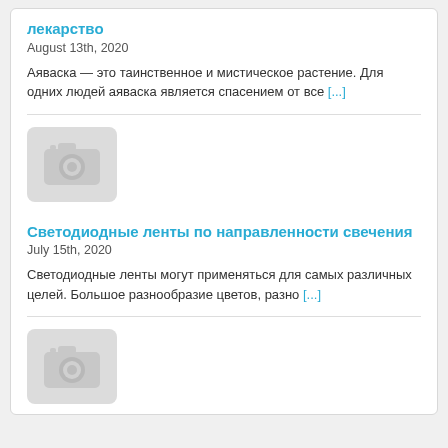лекарство
August 13th, 2020
Аяваска — это таинственное и мистическое растение. Для одних людей аяваска является спасением от все [...]
[Figure (photo): Placeholder camera image icon, light grey background]
Светодиодные ленты по направленности свечения
July 15th, 2020
Светодиодные ленты могут применяться для самых различных целей. Большое разнообразие цветов, разно [...]
[Figure (photo): Placeholder camera image icon, light grey background]